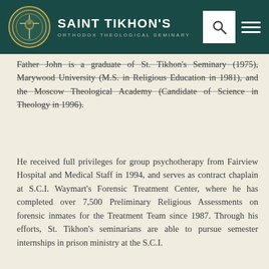SAINT TIKHON'S ORTHODOX THEOLOGICAL SEMINARY
Father John is a graduate of St. Tikhon's Seminary (1975), Marywood University (M.S. in Religious Education in 1981), and the Moscow Theological Academy (Candidate of Science in Theology in 1996).
He received full privileges for group psychotherapy from Fairview Hospital and Medical Staff in 1994, and serves as contract chaplain at S.C.I. Waymart's Forensic Treatment Center, where he has completed over 7,500 Preliminary Religious Assessments on forensic inmates for the Treatment Team since 1987. Through his efforts, St. Tikhon's seminarians are able to pursue semester internships in prison ministry at the S.C.I.